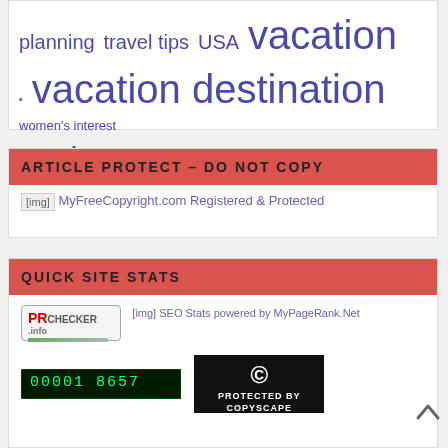planning  travel tips  USA  vacation  vacation destination  women's interest  work
ARTICLE PROTECT – DO NOT COPY
MyFreeCopyright.com Registered & Protected
QUICK SITE STATS
[Figure (other): PR Checker badge showing green bar, SEO Stats powered by MyPageRank.Net image link, a digital counter showing 00001 8657, and a 'Protected by Copyscape' badge]
[Figure (other): Scroll-to-top arrow icon (chevron up)]